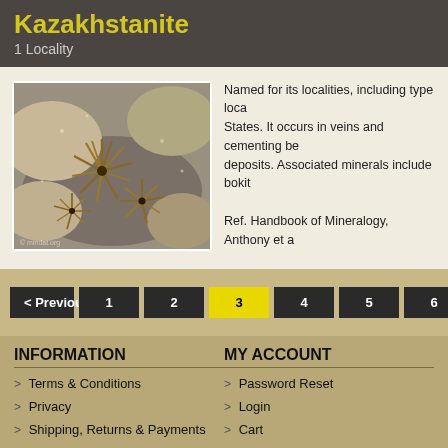Kazakhstanite
1 Locality
[Figure (photo): Close-up photograph of Kazakhstanite mineral specimen showing spiky/radiating crystal formations in brownish-gold color on a rocky matrix]
Named for its localities, including type loca... States. It occurs in veins and cementing be... deposits. Associated minerals include bokit...

Ref. Handbook of Mineralogy, Anthony et a...
< Previous  1  2  3  4  5  6  ...  Next >
INFORMATION
Terms & Conditions
Privacy
Shipping, Returns & Payments
About Us
MY ACCOUNT
Password Reset
Login
Cart
Registration